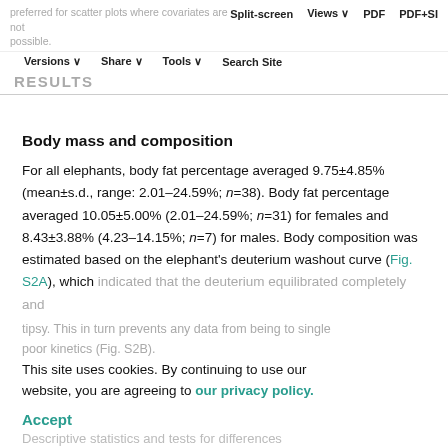preferred for scatter plots where covariates are not possible.   Split-screen   Views   PDF   PDF+SI   Versions   Share   Tools   Search Site
RESULTS
Body mass and composition
For all elephants, body fat percentage averaged 9.75±4.85% (mean±s.d., range: 2.01–24.59%; n=38). Body fat percentage averaged 10.05±5.00% (2.01–24.59%; n=31) for females and 8.43±3.88% (4.23–14.15%; n=7) for males. Body composition was estimated based on the elephant's deuterium washout curve (Fig. S2A), which indicated that the deuterium equilibrated completely and
This site uses cookies. By continuing to use our website, you are agreeing to our privacy policy.
Accept
Descriptive statistics and tests for differences